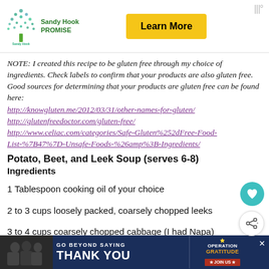[Figure (other): Sandy Hook Promise advertisement banner with tree logo and 'Learn More' yellow button]
NOTE:  I created this recipe to be gluten free through my choice of ingredients. Check labels to confirm that your products are also gluten free. Good sources for determining that your products are gluten free can be found here:
http://knowgluten.me/2012/03/31/other-names-for-gluten/
http://glutenfreedoctor.com/gluten-free/
http://www.celiac.com/categories/Safe-Gluten%252dFree-Food-List-%7B47%7D-Unsafe-Foods-%26amp%3B-Ingredients/
Potato, Beet, and Leek Soup (serves 6-8)
Ingredients
1 Tablespoon cooking oil of your choice
2 to 3 cups loosely packed, coarsely chopped leeks
3 to 4 cups coarsely chopped cabbage (I had Napa)
[Figure (other): Operation Gratitude advertisement banner at bottom: 'Go Beyond Saying Thank You' with JOIN US button]